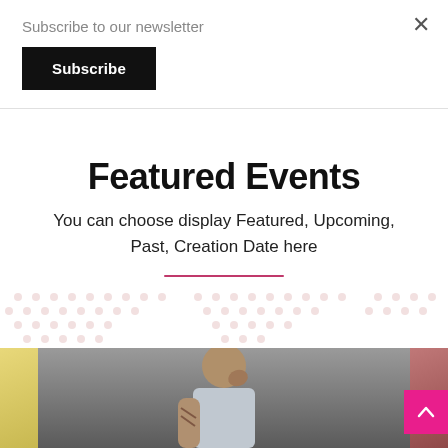Subscribe to our newsletter
Subscribe
Featured Events
You can choose display Featured, Upcoming, Past, Creation Date here
[Figure (illustration): Decorative dot pattern background row]
[Figure (photo): Three partial photos of people: left shows yellow tones, center shows a person with hand near face and tattoos, right shows a person with reddish hair]
[Figure (other): Pink scroll-to-top button with upward arrow in bottom right corner]